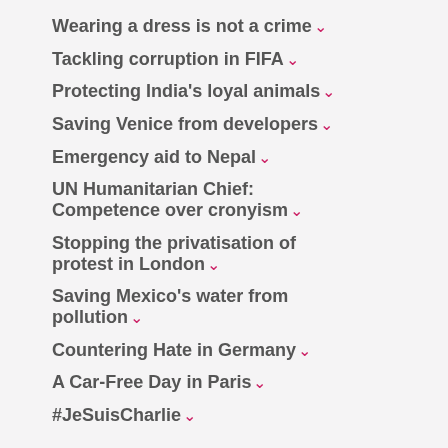Wearing a dress is not a crime
Tackling corruption in FIFA
Protecting India's loyal animals
Saving Venice from developers
Emergency aid to Nepal
UN Humanitarian Chief: Competence over cronyism
Stopping the privatisation of protest in London
Saving Mexico's water from pollution
Countering Hate in Germany
A Car-Free Day in Paris
#JeSuisCharlie